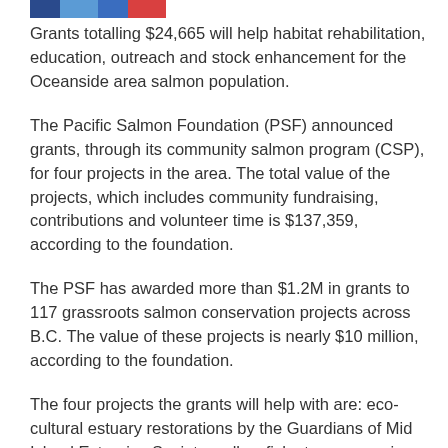[colored bar logo strip]
Grants totalling $24,665 will help habitat rehabilitation, education, outreach and stock enhancement for the Oceanside area salmon population.
The Pacific Salmon Foundation (PSF) announced grants, through its community salmon program (CSP), for four projects in the area. The total value of the projects, which includes community fundraising, contributions and volunteer time is $137,359, according to the foundation.
The PSF has awarded more than $1.2M in grants to 117 grassroots salmon conservation projects across B.C. The value of these projects is nearly $10 million, according to the foundation.
The four projects the grants will help with are: eco-cultural estuary restorations by the Guardians of Mid Island Estuaries Society; yellow fish stream crossing